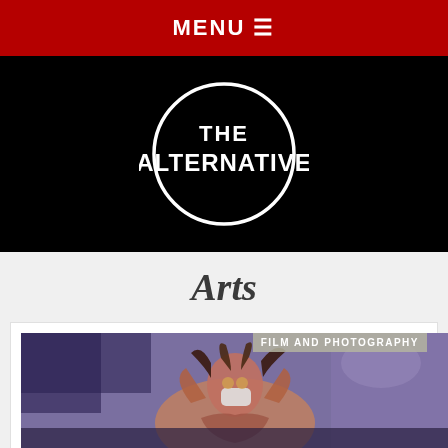MENU ☰
[Figure (logo): The Alternative logo — white circle with text 'THE ALTERNATIVE' inside on black background]
Arts
[Figure (photo): Photo of a performer wearing a mask and colorful costume with raised arms against a purple/blue background, with 'FILM AND PHOTOGRAPHY' label overlay]